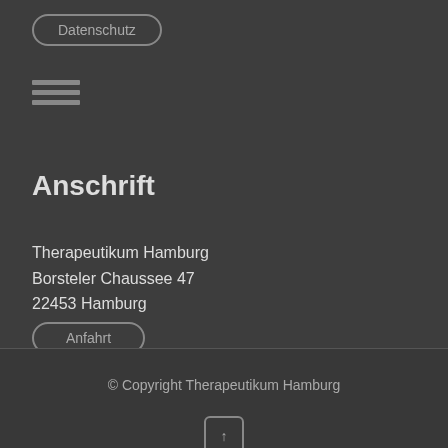Datenschutz
[Figure (other): Hamburger menu icon with three horizontal lines]
Anschrift
Therapeutikum Hamburg
Borsteler Chaussee 47
22453 Hamburg
Anfahrt
© Copyright Therapeutikum Hamburg